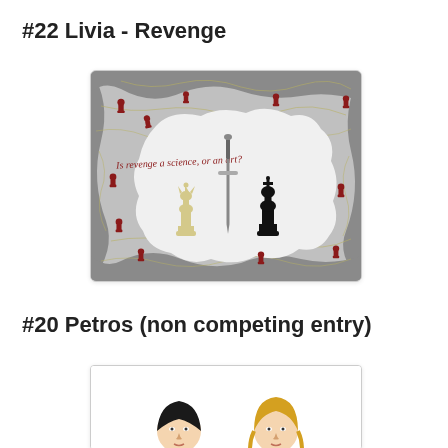#22 Livia - Revenge
[Figure (illustration): Illustration for 'Livia - Revenge': a chess-themed image with a grey cracked/veined background. Red chess pawns and pieces are scattered on the grey border area. In the center is a white cloud-like patch containing the italic text 'Is revenge a science, or an art?' in red/dark red script. Below the text are three chess pieces: a cream/ivory queen on the left, a grey sword in the middle pointing downward, and a black king on the right.]
#20 Petros (non competing entry)
[Figure (illustration): Partial illustration for '#20 Petros (non competing entry)': shows the top portion of an image with a white background. Two partially visible cartoon-style character heads are visible at the bottom of the frame — one on the left with dark/black hair and one on the right with lighter/golden hair.]